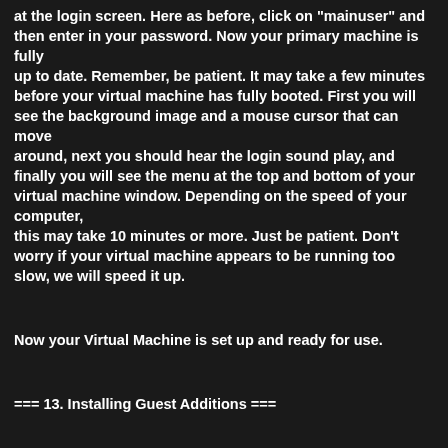at the login screen. Here as before, click on "mainuser" and then enter in your password. Now your primary machine is fully up to date. Remember, be patient. It may take a few minutes before your virtual machine has fully booted. First you will see the background image and a mouse cursor that can move around, next you should hear the login sound play, and finally you will see the menu at the top and bottom of your virtual machine window. Depending on the speed of your computer, this may take 10 minutes or more. Just be patient. Don't worry if your virtual machine appears to be running too slow, we will speed it up.
Now your Virtual Machine is set up and ready for use.
=== 13. Installing Guest Additions ===